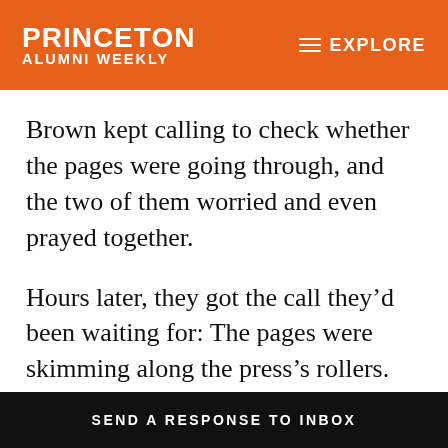Princeton Alumni Weekly | EXPLORE
Brown kept calling to check whether the pages were going through, and the two of them worried and even prayed together.
Hours later, they got the call they’d been waiting for: The pages were skimming along the press’s rollers. Then the two walked back together through the spring night to their dorm rooms. The campus was quiet, and the
SEND A RESPONSE TO INBOX